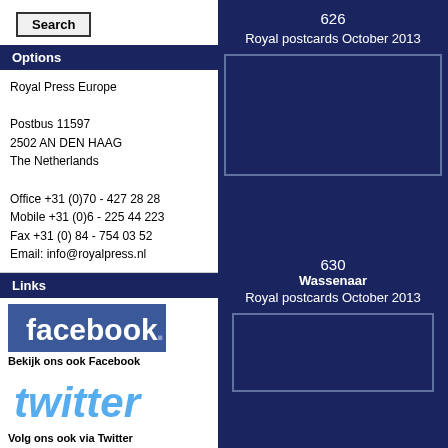Search
Options
Royal Press Europe

Postbus 11597
2502 AN DEN HAAG
The Netherlands

Office +31 (0)70 - 427 28 28
Mobile +31 (0)6 - 225 44 223
Fax +31 (0) 84 - 754 03 52
Email: info@royalpress.nl
Links
[Figure (logo): Facebook logo blue banner]
Bekijk ons ook Facebook
[Figure (logo): Twitter logo]
Volg ons ook via Twitter
[Figure (logo): YouTube logo with Royal Press Europe text]
Bekijk ook ons Youtube kanaal
626
Royal postcards October 2013
[Figure (photo): Empty placeholder image box for item 626]
630
Wassenaar
Royal postcards October 2013
[Figure (photo): Empty placeholder image box for item 630]